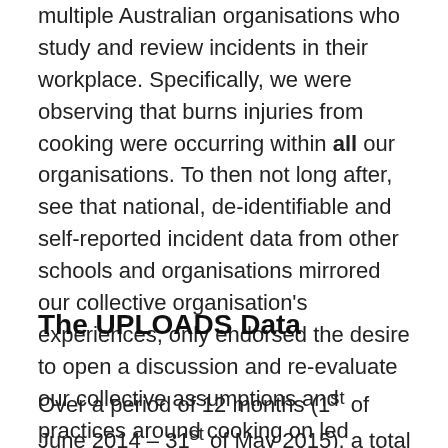multiple Australian organisations who study and review incidents in their workplace. Specifically, we were observing that burns injuries from cooking were occurring within all our organisations. To then not long after, see that national, de-identifiable and self-reported incident data from other schools and organisations mirrored our collective organisation's experiences, only endorsed the desire to open a discussion and re-evaluate our collective assumptions and practices around cooking on led outdoor programs. This post is an attempt at that.
The UPLOADS Data
Over a period of 12 months (1st of June 2014 – 31st of May 2015), a total of 114 incidents were reported under